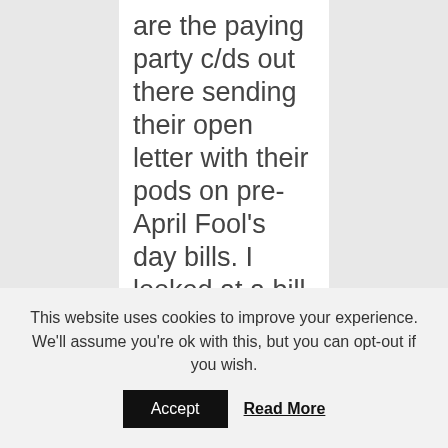are the paying party c/ds out there sending their open letter with their pods on pre-April Fool's day bills. I looked at a bill yesterday that was so lacking in information that if I sent a letter, the offer would be nil
This website uses cookies to improve your experience. We'll assume you're ok with this, but you can opt-out if you wish.